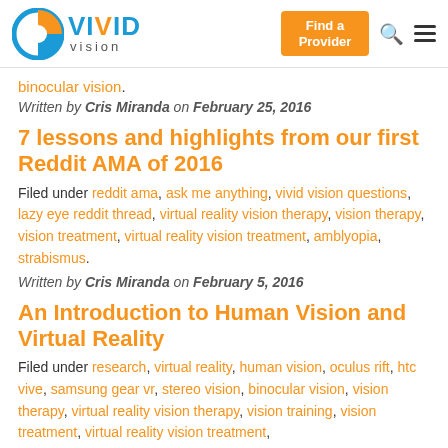Vivid Vision — Find a Provider | Search | Menu
binocular vision.
Written by Cris Miranda on February 25, 2016
7 lessons and highlights from our first Reddit AMA of 2016
Filed under reddit ama, ask me anything, vivid vision questions, lazy eye reddit thread, virtual reality vision therapy, vision therapy, vision treatment, virtual reality vision treatment, amblyopia, strabismus.
Written by Cris Miranda on February 5, 2016
An Introduction to Human Vision and Virtual Reality
Filed under research, virtual reality, human vision, oculus rift, htc vive, samsung gear vr, stereo vision, binocular vision, vision therapy, virtual reality vision therapy, vision training, vision treatment, virtual reality vision treatment, amblyopia, strabismus, lazy eye, binocular vision training,